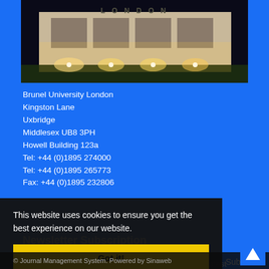[Figure (photo): Nighttime photo of Brunel University London building with illuminated 'LONDON' sign and ground-level uplighting]
Brunel University London
Kingston Lane
Uxbridge
Middlesex UB8 3PH
Howell Building 123a
Tel: +44 (0)1895 274000
Tel: +44 (0)1895 265773
Fax: +44 (0)1895 232806
Newsletter Subscription
Subscribe to the journal newsletter and receive the latest
Subscribe
This website uses cookies to ensure you get the best experience on our website.
Got it!
© Journal Management System. Powered by Sinaweb